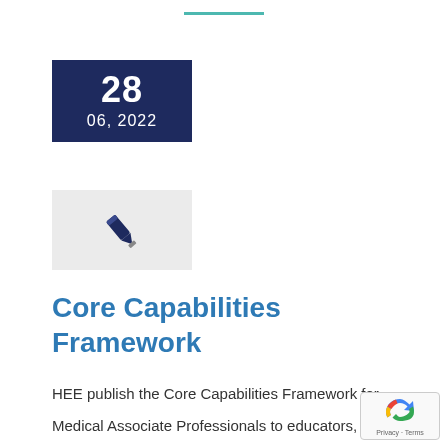[Figure (other): Date card showing '28' in large text with '06, 2022' below on a dark navy blue background]
[Figure (other): Light grey box containing a dark navy pen/writing icon]
Core Capabilities Framework
HEE publish the Core Capabilities Framework for Medical Associate Professionals to educators, employers and those considering careers as anaesthesia associates, physician associates, or surgical care practitioners Date: June 2022